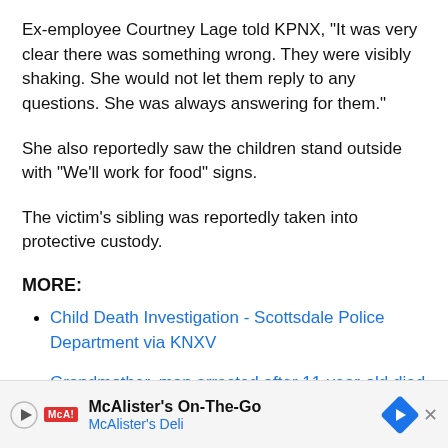Ex-employee Courtney Lage told KPNX, "It was very clear there was something wrong. They were visibly shaking. She would not let them reply to any questions. She was always answering for them."
She also reportedly saw the children stand outside with "We'll work for food" signs.
The victim's sibling was reportedly taken into protective custody.
MORE:
Child Death Investigation - Scottsdale Police Department via KNXV
Grandmother, man arrested after 11-year-old died at Scottsdale hotel - KNXV
Gi... boy f...
[Figure (other): McAlister's On-The-Go advertisement banner with McAlister's Deli logo and navigation arrow icon]